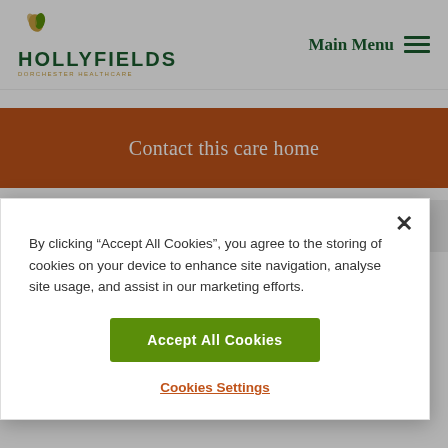[Figure (logo): Hollyfields Dorchester Healthcare logo with leaf/flower icon and green text]
Main Menu
Contact this care home
Read our brochure
By clicking “Accept All Cookies”, you agree to the storing of cookies on your device to enhance site navigation, analyse site usage, and assist in our marketing efforts.
Accept All Cookies
Cookies Settings